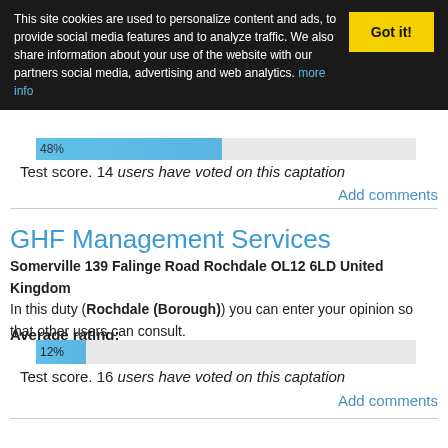This site cookies are used to personalize content and ads, to provide social media features and to analyze traffic. We also share information about your use of the website with our partners social media, advertising and web analytics. more info
Got it!
[Figure (bar-chart): Average rating (previous section)]
Test score. 14 users have voted on this captation
Add comments
GHF Management Services
Somerville 139 Falinge Road Rochdale OL12 6LD United Kingdom
In this duty (Rochdale (Borough)) you can enter your opinion so that other users can consult.
Average rating:
[Figure (bar-chart): Average rating]
Test score. 16 users have voted on this captation
Add comments